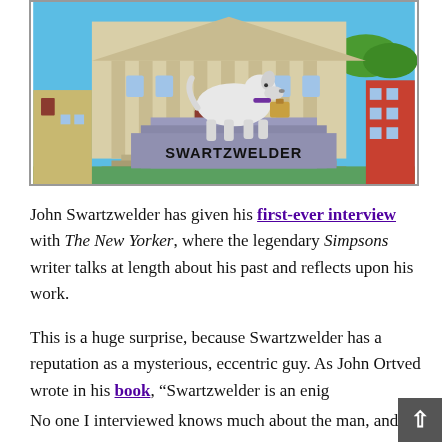[Figure (illustration): Simpsons-style animated illustration showing a statue of a dog on a pedestal labeled 'SWARTZWELDER' in front of a grand building with columns, blue sky and city buildings in background.]
John Swartzwelder has given his first-ever interview with The New Yorker, where the legendary Simpsons writer talks at length about his past and reflects upon his work.
This is a huge surprise, because Swartzwelder has a reputation as a mysterious, eccentric guy. As John Ortved wrote in his book, "Swartzwelder is an enigm... No one I interviewed knows much about the man, and